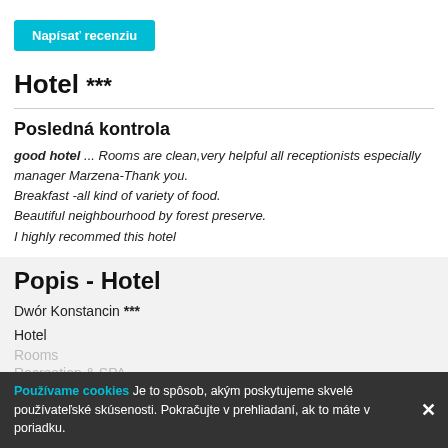[Figure (other): Teal/cyan 'Napísať recenziu' button (Write a review)]
Hotel ***
Posledná kontrola
good hotel ... Rooms are clean,very helpful all receptionists especially manager Marzena-Thank you.
Breakfast -all kind of variety of food.
Beautiful neighbourhood by forest preserve.
I highly recommed this hotel
Popis - Hotel
Dwór Konstancin ***
Hotel
Rooms
Recreation & SPA
Používame cookies Je to spôsob, akým poskytujeme skvelé používateľské skúsenosti. Pokračujte v prehliadaní, ak to máte v poriadku.